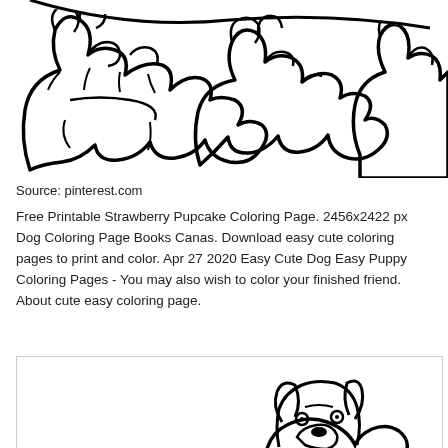[Figure (illustration): Black and white line drawing of cartoon dog paws/feet, viewed from behind, showing three large paws with claws and toes, coloring page style illustration.]
Source: pinterest.com
Free Printable Strawberry Pupcake Coloring Page. 2456x2422 px Dog Coloring Page Books Canas. Download easy cute coloring pages to print and color. Apr 27 2020 Easy Cute Dog Easy Puppy Coloring Pages - You may also wish to color your finished friend. About cute easy coloring page.
[Figure (illustration): Black and white line drawing of a cartoon dog head/face, coloring page style, partially visible at bottom of page within a bordered box.]